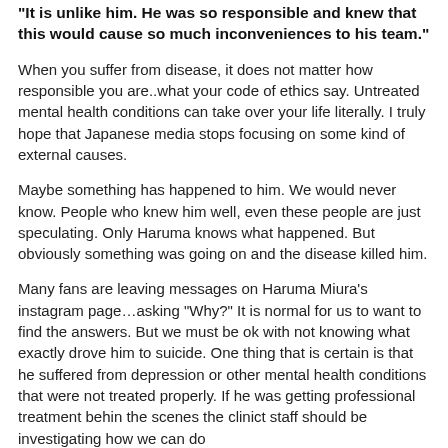"It is unlike him. He was so responsible and knew that this would cause so much inconveniences to his team."
When you suffer from disease, it does not matter how responsible you are..what your code of ethics say. Untreated mental health conditions can take over your life literally. I truly hope that Japanese media stops focusing on some kind of external causes.
Maybe something has happened to him. We would never know. People who knew him well, even these people are just speculating. Only Haruma knows what happened. But obviously something was going on and the disease killed him.
Many fans are leaving messages on Haruma Miura's instagram page…asking “Why?” It is normal for us to want to find the answers. But we must be ok with not knowing what exactly drove him to suicide. One thing that is certain is that he suffered from depression or other mental health conditions that were not treated properly. If he was getting professional treatment behind the scenes the clinict staff should be investigating how we can do